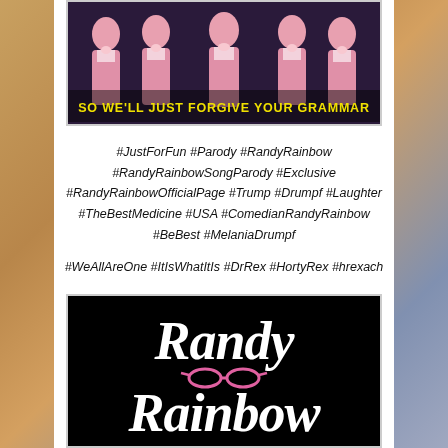[Figure (photo): Photo of multiple men in pink tuxedos with bow ties, with yellow bold text overlay reading 'SO WE'LL JUST FORGIVE YOUR GRAMMAR']
#JustForFun #Parody #RandyRainbow #RandyRainbowSongParody #Exclusive #RandyRainbowOfficialPage #Trump #Drumpf #Laughter #TheBestMedicine #USA #ComedianRandyRainbow #BeBest #MelaniaDrumpf
#WeAllAreOne #ItIsWhatItIs #DrRex #HortyRex #hrexach
[Figure (logo): Randy Rainbow logo — cursive white script 'Randy Rainbow' on black background with pink sunglasses icon]